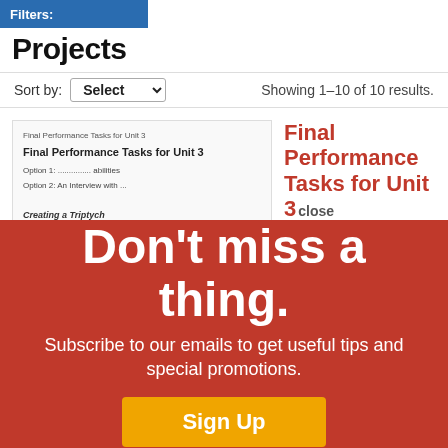Filters:
Projects
Sort by: Select   Showing 1–10 of 10 results.
[Figure (screenshot): Thumbnail preview of 'Final Performance Tasks for Unit 3' project card showing title and options]
Final Performance Tasks for Unit 3
This handout provides opportunities for students to demonstrate their understanding of the concepts learned in Unit 3.
Creating a Triptych
This is a description for an art project where students...
Don't miss a thing.
Subscribe to our emails to get useful tips and special promotions.
Sign Up